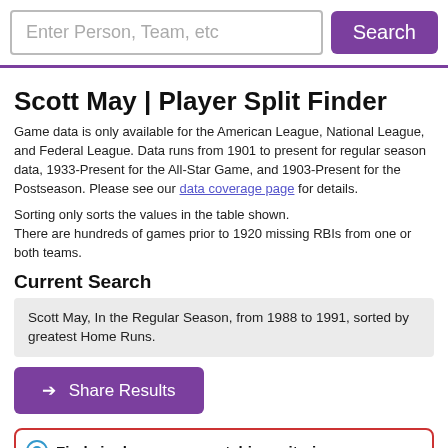Enter Person, Team, etc [search bar] Search [button]
Scott May | Player Split Finder
Game data is only available for the American League, National League, and Federal League. Data runs from 1901 to present for regular season data, 1933-Present for the All-Star Game, and 1903-Present for the Postseason. Please see our data coverage page for details.
Sorting only sorts the values in the table shown.
There are hundreds of games prior to 1920 missing RBIs from one or both teams.
Current Search
Scott May, In the Regular Season, from 1988 to 1991, sorted by greatest Home Runs.
➔ Share Results
Find single seasons matching criteria
Ex. Most home runs in home games in a season